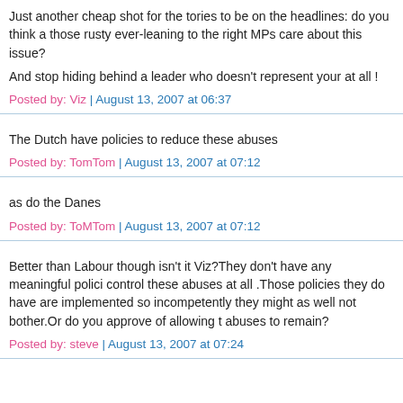Just another cheap shot for the tories to be on the headlines: do you think a those rusty ever-leaning to the right MPs care about this issue?

And stop hiding behind a leader who doesn't represent your at all !
Posted by: Viz | August 13, 2007 at 06:37
The Dutch have policies to reduce these abuses
Posted by: TomTom | August 13, 2007 at 07:12
as do the Danes
Posted by: ToMTom | August 13, 2007 at 07:12
Better than Labour though isn't it Viz?They don't have any meaningful polici control these abuses at all .Those policies they do have are implemented so incompetently they might as well not bother.Or do you approve of allowing t abuses to remain?
Posted by: steve | August 13, 2007 at 07:24